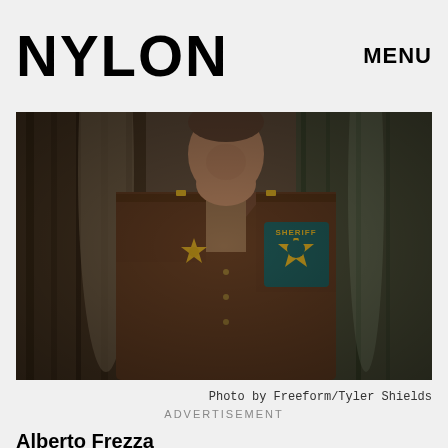NYLON   MENU
[Figure (photo): Person wearing a brown sheriff uniform with a gold star badge and a SHERIFF patch on the sleeve, photographed from chest up with blurred background.]
Photo by Freeform/Tyler Shields
Alberto Frezza
ADVERTISEMENT